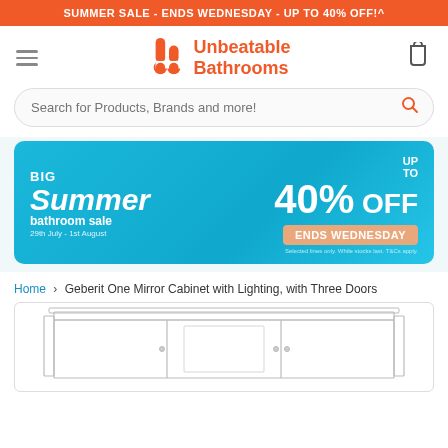SUMMER SALE - ENDS WEDNESDAY - UP TO 40% OFF!^
[Figure (logo): Unbeatable Bathrooms logo with orange UB icon and orange text]
Search for Products, Brands and more!
[Figure (infographic): Big Summer bathroom sale banner. UP TO 40% OFF. ENDS WEDNESDAY. 29th July - 1st August.]
Home > Geberit One Mirror Cabinet with Lighting, with Three Doors
[Figure (illustration): Line drawing of Geberit One Mirror Cabinet with Lighting, with Three Doors]